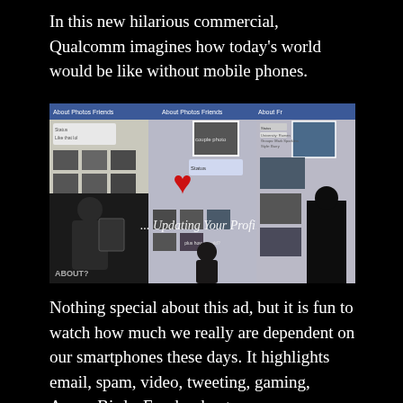In this new hilarious commercial, Qualcomm imagines how today's world would be like without mobile phones.
[Figure (photo): Screenshot from a Qualcomm commercial showing people interacting with a physical recreation of a Facebook profile wall, with the text '... Updating Your Profile' overlaid on the image.]
Nothing special about this ad, but it is fun to watch how much we really are dependent on our smartphones these days. It highlights email, spam, video, tweeting, gaming, Angry Birds, Facebook, etc.